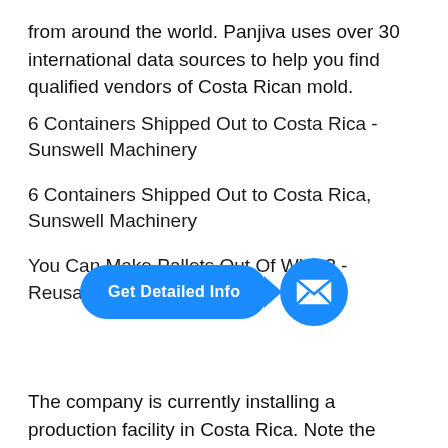from around the world. Panjiva uses over 30 international data sources to help you find qualified vendors of Costa Rican mold.
6 Containers Shipped Out to Costa Rica - Sunswell Machinery
6 Containers Shipped Out to Costa Rica, Sunswell Machinery
You Can Make Pallets Out Of What? - Reusable Packaging News
[Figure (infographic): Blue 'Get Detailed Info' button with arrow and circular mail icon overlay]
The company is currently installing a production facility in Costa Rica. Note the video from Yellow Pallet. Coco Pallets. According to CocoPallet International, a Netherlands-based producer of pallets made from coconut waste, 70 billion coconuts are produced annually, while less than 15 percent of the husk material is utilized. Present ...